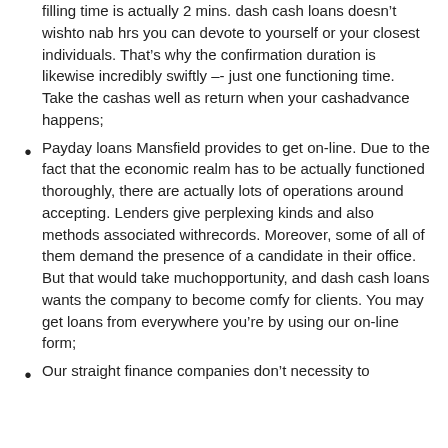filling time is actually 2 mins. dash cash loans doesn’t wishto nab hrs you can devote to yourself or your closest individuals. That’s why the confirmation duration is likewise incredibly swiftly -- just one functioning time. Take the cashas well as return when your cashadvance happens;
Payday loans Mansfield provides to get on-line. Due to the fact that the economic realm has to be actually functioned thoroughly, there are actually lots of operations around accepting. Lenders give perplexing kinds and also methods associated withrecords. Moreover, some of all of them demand the presence of a candidate in their office. But that would take muchopportunity, and dash cash loans wants the company to become comfy for clients. You may get loans from everywhere you’re by using our on-line form;
Our straight finance companies don’t necessity to